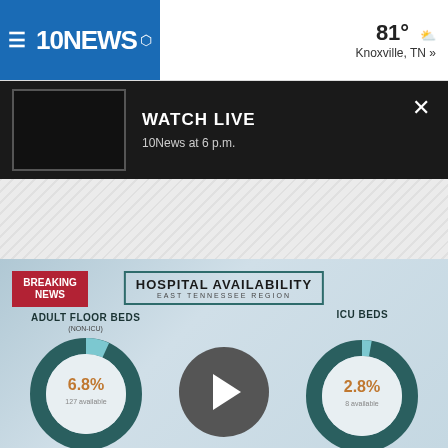10NEWS — 81° Knoxville, TN »
WATCH LIVE — 10News at 6 p.m.
[Figure (infographic): Hospital Availability East Tennessee Region infographic showing two donut charts. Left chart: Adult Floor Beds (Non-ICU) at 6.8%, 127 available. Right chart: ICU Beds at 2.8%, 8 available. A play button overlay is in the center. Breaking News label in red at top left.]